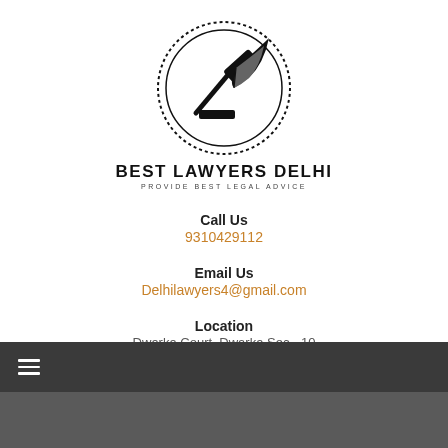[Figure (logo): Best Lawyers Delhi circular logo with gavel and quill, with text BEST LAWYERS DELHI and tagline PROVIDE BEST LEGAL ADVICE]
Call Us
9310429112
Email Us
Delhilawyers4@gmail.com
Location
Dwarka Court, Dwarka Sec - 10
Delhi
☰ (hamburger menu icon)